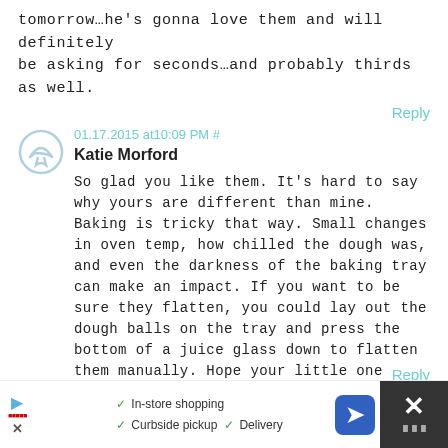tomorrow…he's gonna love them and will definitely be asking for seconds…and probably thirds as well.
Reply
01.17.2015 at10:09 PM #
Katie Morford
So glad you like them. It's hard to say why yours are different than mine. Baking is tricky that way. Small changes in oven temp, how chilled the dough was, and even the darkness of the baking tray can make an impact. If you want to be sure they flatten, you could lay out the dough balls on the tray and press the bottom of a juice glass down to flatten them manually. Hope your little one likes them too!
Reply
In-store shopping  Curbside pickup  Delivery